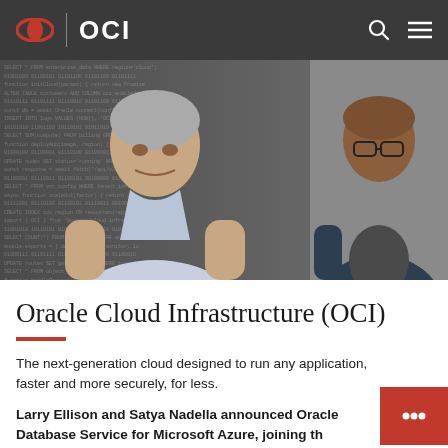OCI
[Figure (photo): Two people (Larry Ellison on left, Satya Nadella on right) standing side by side against a dark background with code overlay on the left side]
Oracle Cloud Infrastructure (OCI)
The next-generation cloud designed to run any application, faster and more securely, for less.
Larry Ellison and Satya Nadella announced Oracle Database Service for Microsoft Azure, joining th...